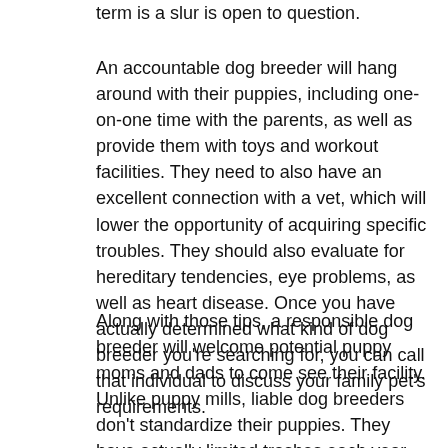term is a slur is open to question.
An accountable dog breeder will hang around with their puppies, including one-on-one time with the parents, as well as provide them with toys and workout facilities. They need to also have an excellent connection with a vet, which will lower the opportunity of acquiring specific troubles. They should also evaluate for hereditary tendencies, eye problems, as well as heart disease. Once you have actually determined what kind of dog breeder you're searching for, you can call that individual to discuss your family pet's requirements.
Along with those tips, a responsible dog breeder will welcome potential puppy moms and dads to come see their facility. Unlike puppy mills, liable dog breeders don't standardize their puppies. They have actually limited trashes each year and also have waiting listings. You need to also have a look at the problems of the pets. Unfortunately, many saved pet dogs are from puppy mills as well as do not have a good life. They've had a miserable life and also are not fraternized humans.